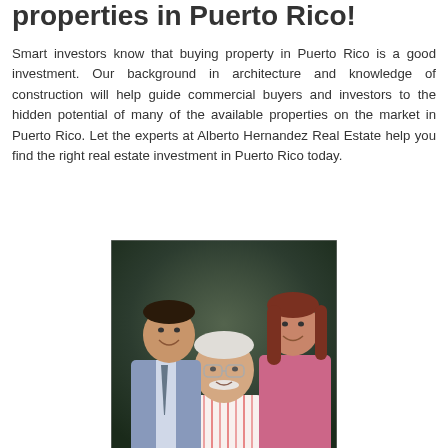properties in Puerto Rico!
Smart investors know that buying property in Puerto Rico is a good investment. Our background in architecture and knowledge of construction will help guide commercial buyers and investors to the hidden potential of many of the available properties on the market in Puerto Rico. Let the experts at Alberto Hernandez Real Estate help you find the right real estate investment in Puerto Rico today.
[Figure (photo): Portrait photo of three people: a man in a suit on the left, an older man with white mustache in a striped shirt in the center front, and a woman in a pink top on the right.]